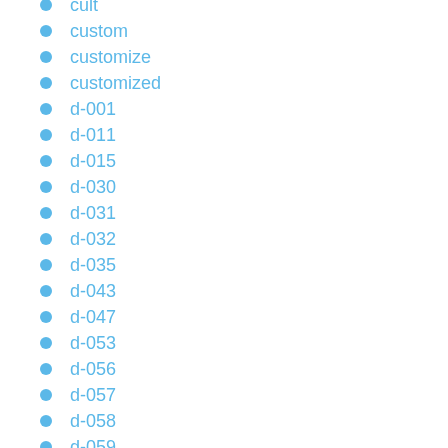cult
custom
customize
customized
d-001
d-011
d-015
d-030
d-031
d-032
d-035
d-043
d-047
d-053
d-056
d-057
d-058
d-059